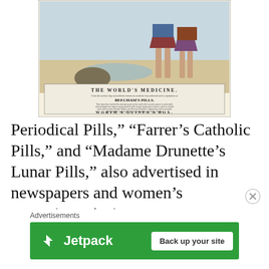[Figure (illustration): Vintage Beecham's Pills advertisement showing two figures standing on a beach with text 'THE WORLD'S MEDICINE', 'BEECHAM'S PILLS', and 'WORTH A GUINEA A BOX.']
Periodical Pills," "Farrer's Catholic Pills," and "Madame Drunette's Lunar Pills," also advertised in newspapers and women's magazines. As in
Advertisements
[Figure (other): Jetpack advertisement banner with green background showing Jetpack logo and 'Back up your site' button]